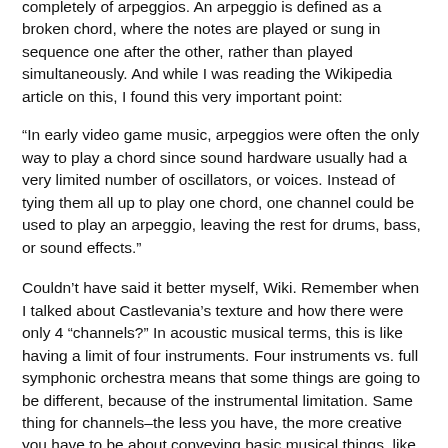completely of arpeggios. An arpeggio is defined as a broken chord, where the notes are played or sung in sequence one after the other, rather than played simultaneously. And while I was reading the Wikipedia article on this, I found this very important point:
“In early video game music, arpeggios were often the only way to play a chord since sound hardware usually had a very limited number of oscillators, or voices. Instead of tying them all up to play one chord, one channel could be used to play an arpeggio, leaving the rest for drums, bass, or sound effects.”
Couldn’t have said it better myself, Wiki. Remember when I talked about Castlevania’s texture and how there were only 4 “channels?” In acoustic musical terms, this is like having a limit of four instruments. Four instruments vs. full symphonic orchestra means that some things are going to be different, because of the instrumental limitation. Same thing for channels–the less you have, the more creative you have to be about conveying basic musical things, like melody, harmony and rhythm.